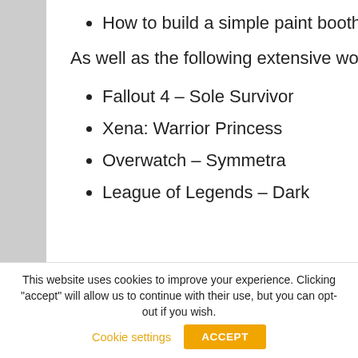How to build a simple paint booth
As well as the following extensive work examples:
Fallout 4 – Sole Survivor
Xena: Warrior Princess
Overwatch – Symmetra
League of Legends – Dark
This website uses cookies to improve your experience. Clicking "accept" will allow us to continue with their use, but you can opt-out if you wish.
Cookie settings
ACCEPT